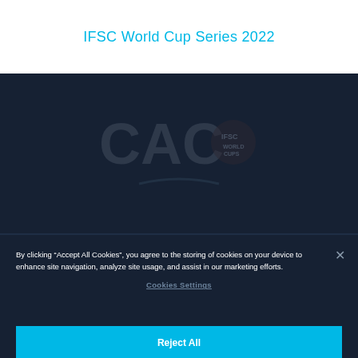IFSC World Cup Series 2022
[Figure (logo): Dark background section with faint IFSC/CAC logo watermark in center]
By clicking “Accept All Cookies”, you agree to the storing of cookies on your device to enhance site navigation, analyze site usage, and assist in our marketing efforts.
Cookies Settings
Reject All
Accept All Cookies